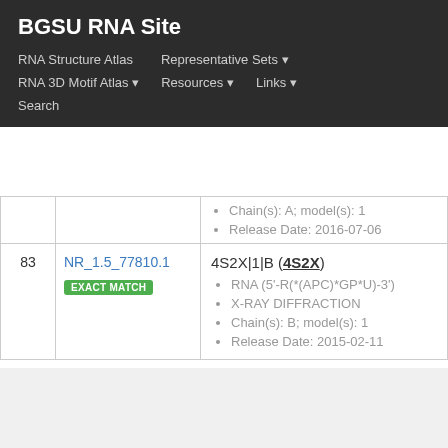BGSU RNA Site
RNA Structure Atlas
Representative Sets
RNA 3D Motif Atlas
Resources
Links
Search
| # | ID | Entry |
| --- | --- | --- |
|  |  | Chain(s): A; model(s): 1
Release Date: 2016-07-06 |
| 83 | NR_1.5_77810.1
EXACT MATCH | 4S2X|1|B (4S2X)
RNA (5'-R(*(APC)*GP*U)-3')
X-RAY DIFFRACTION
Chain(s): B; model(s): 1
Release Date: 2015-02-11 |